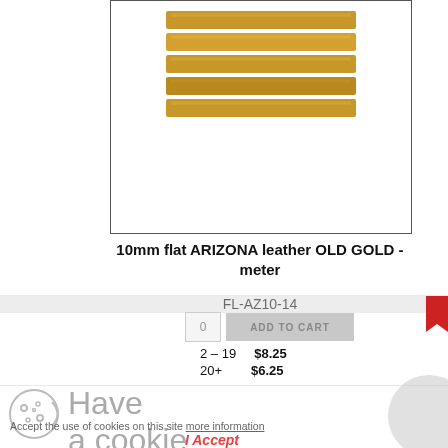[Figure (photo): Gold/tan flat leather cord strips stacked, showing old gold color]
10mm flat ARIZONA leather OLD GOLD - meter
FL-AZ10-14
2 – 19   $8.25
20+   $6.25
Have a cookie
Accept the use of cookies on this site more information
I Accept